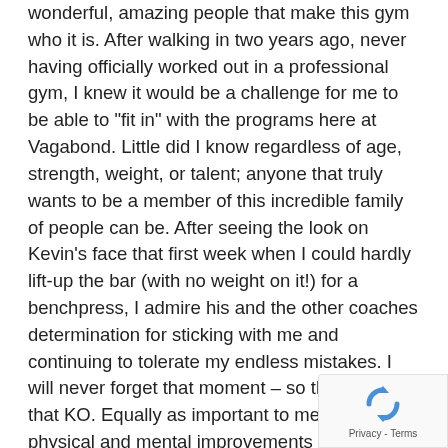wonderful, amazing people that make this gym who it is. After walking in two years ago, never having officially worked out in a professional gym, I knew it would be a challenge for me to be able to "fit in" with the programs here at Vagabond. Little did I know regardless of age, strength, weight, or talent; anyone that truly wants to be a member of this incredible family of people can be. After seeing the look on Kevin's face that first week when I could hardly lift-up the bar (with no weight on it!) for a benchpress, I admire his and the other coaches determination for sticking with me and continuing to tolerate my endless mistakes. I will never forget that moment – so thank you for that KO. Equally as important to me as the physical and mental improvements that I've gained, is the amount of wonderful people I've met that I now consider great friends. I have been honored to add so many positive, fun, and inspiring people to my life which I enjoy spending
[Figure (other): reCAPTCHA privacy badge with recycling/refresh arrows icon and 'Privacy - Terms' text]